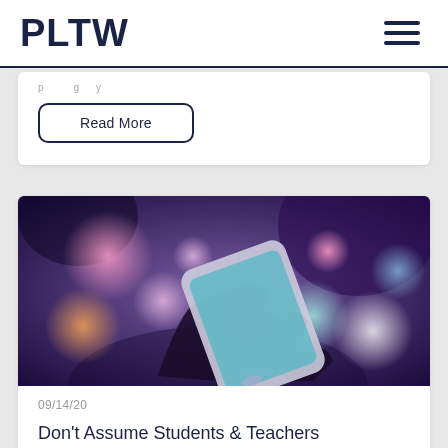PLTW
Read More
[Figure (photo): A hand holding a smartphone with colorful bokeh lights in the background on a purple-toned background]
09/14/20
Don't Assume Students & Teachers